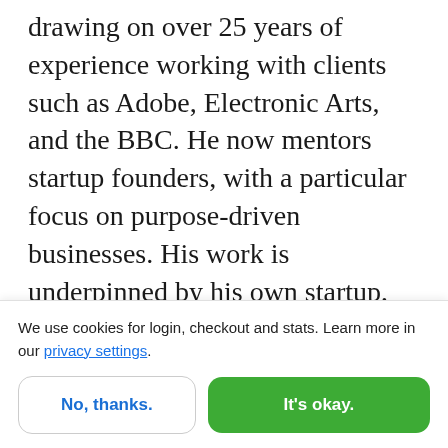drawing on over 25 years of experience working with clients such as Adobe, Electronic Arts, and the BBC. He now mentors startup founders, with a particular focus on purpose-driven businesses. His work is underpinned by his own startup, The School of Design, a community for creatives who are designing, building, and selling products. So we know he's an expert in helping others to learn, but did you know he was once taught to play the hurdy-gurdy by Dame Helen Mirren? My smashing friends, please welcome
We use cookies for login, checkout and stats. Learn more in our privacy settings.